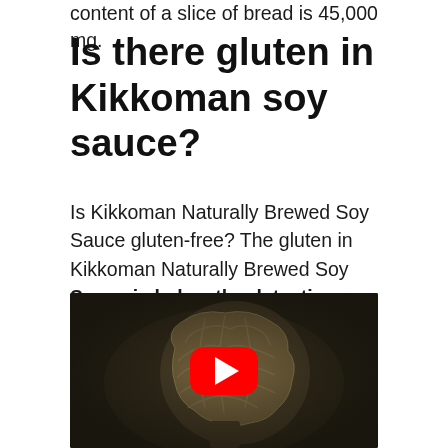content of a slice of bread is 45,000 mg.
Is there gluten in Kikkoman soy sauce?
Is Kikkoman Naturally Brewed Soy Sauce gluten-free? The gluten in Kikkoman Naturally Brewed Soy Sauce is below the detection limit of 10 ppm (according to tests by independent institutes). We recommend Tamari Gluten-free Soy Sauce for people with gluten intolerance.
[Figure (screenshot): YouTube video thumbnail showing a human brain cross-section illustration on a dark background, with a red YouTube play button overlay in the center.]